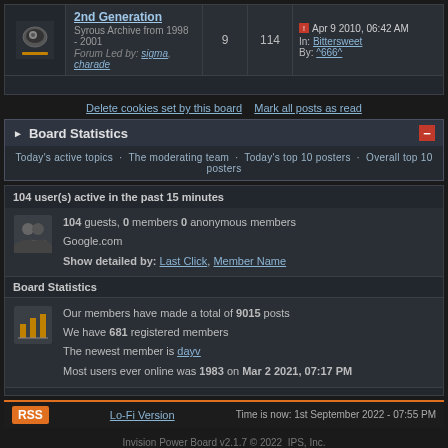| Forum | Posts | Msgs | Last Post |
| --- | --- | --- | --- |
| 2nd Generation
Syrous Archive from 1998 - 2001
Forum Led by: sigma, charade | 9 | 114 | Apr 9 2010, 06:42 AM
In: Bittersweet
By: ^666^ |
Delete cookies set by this board   Mark all posts as read
Board Statistics
Today's active topics · The moderating team · Today's top 10 posters · Overall top 10 posters
104 user(s) active in the past 15 minutes
104 guests, 0 members 0 anonymous members
Google.com
Show detailed by: Last Click, Member Name
Board Statistics
Our members have made a total of 9015 posts
We have 681 registered members
The newest member is dayv
Most users ever online was 1983 on Mar 2 2021, 07:17 PM
RSS   Lo-Fi Version   Time is now: 1st September 2022 - 07:55 PM
Invision Power Board v2.1.7 © 2022  IPS, Inc.
Licensed to: cydonian.com